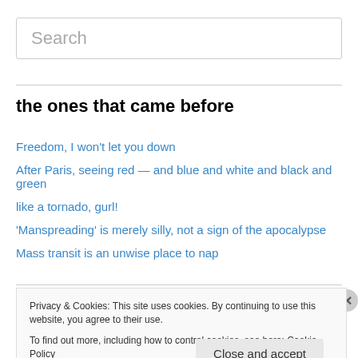Search
the ones that came before
Freedom, I won't let you down
After Paris, seeing red — and blue and white and black and green
like a tornado, gurl!
'Manspreading' is merely silly, not a sign of the apocalypse
Mass transit is an unwise place to nap
Privacy & Cookies: This site uses cookies. By continuing to use this website, you agree to their use. To find out more, including how to control cookies, see here: Cookie Policy